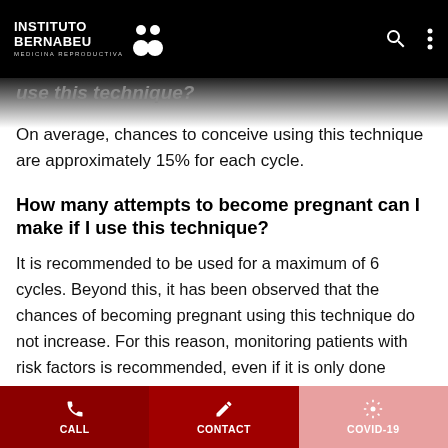Instituto Bernabeu - Medicina Reproductiva
use this technique?
On average, chances to conceive using this technique are approximately 15% for each cycle.
How many attempts to become pregnant can I make if I use this technique?
It is recommended to be used for a maximum of 6 cycles. Beyond this, it has been observed that the chances of becoming pregnant using this technique do not increase. For this reason, monitoring patients with risk factors is recommended, even if it is only done initially, to assess their response to medication.
CALL | CONTACT | COVID-19